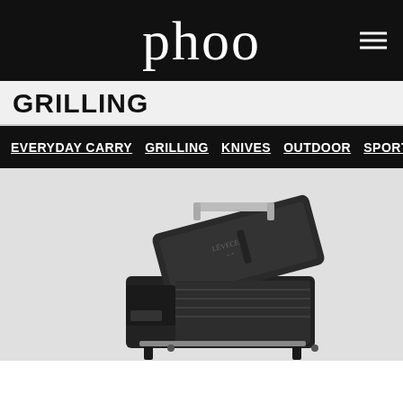phoo
GRILLING
EVERYDAY CARRY  GRILLING  KNIVES  OUTDOOR  SPORTS  TOOLS  TOYS AND GAMES  BICYCLES  TRAVEL  WRITING  COOKING  FIREARMS  HOME GOODS  OFFICE  BOOKS
[Figure (photo): Black portable pellet smoker/grill with lid open, showing interior grates. Stainless steel handle on top. Brand marking visible on interior lid panel. Product photographed on white/light grey background.]